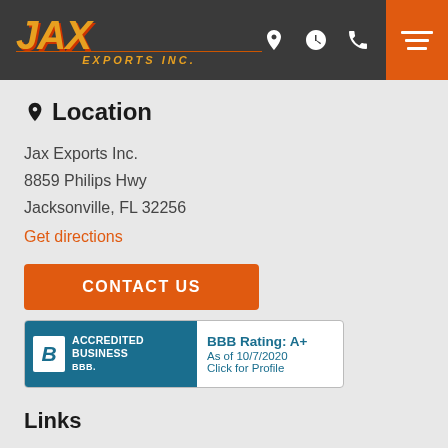[Figure (logo): JAX Exports Inc. orange and yellow logo on dark header bar with navigation icons and orange menu button]
📍 Location
Jax Exports Inc.
8859 Philips Hwy
Jacksonville, FL 32256
Get directions
CONTACT US
[Figure (logo): BBB Accredited Business badge with BBB Rating: A+ As of 10/7/2020 Click for Profile]
Links
Online Credit Approval
Schedule Test Drive